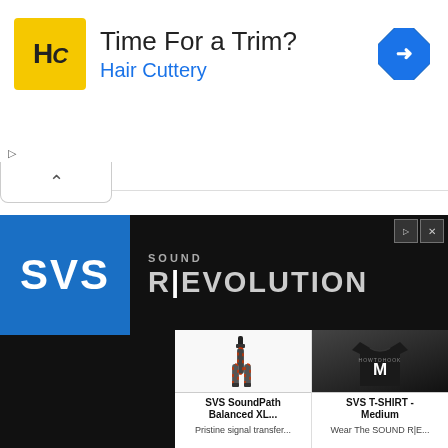[Figure (screenshot): Hair Cuttery advertisement banner with yellow HC logo, 'Time For a Trim?' headline, blue 'Hair Cuttery' subtext, and blue diamond navigation arrow icon]
[Figure (screenshot): SVS Sound Revolution advertisement showing SVS logo on blue background with dark theme, and product grid showing SVS SoundPath Balanced XL cable and SVS T-SHIRT Medium with descriptions]